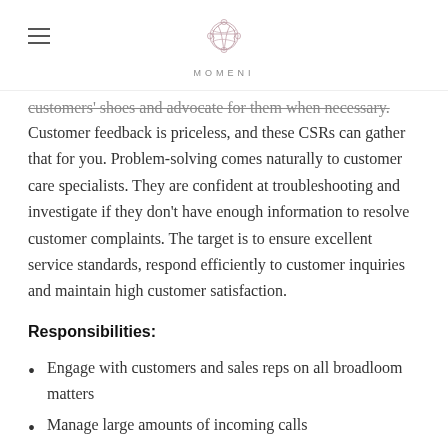MOMENI
customers' shoes and advocate for them when necessary. Customer feedback is priceless, and these CSRs can gather that for you. Problem-solving comes naturally to customer care specialists. They are confident at troubleshooting and investigate if they don't have enough information to resolve customer complaints. The target is to ensure excellent service standards, respond efficiently to customer inquiries and maintain high customer satisfaction.
Responsibilities:
Engage with customers and sales reps on all broadloom matters
Manage large amounts of incoming calls
Generate sales leads
Identify and assess customers' needs to achieve